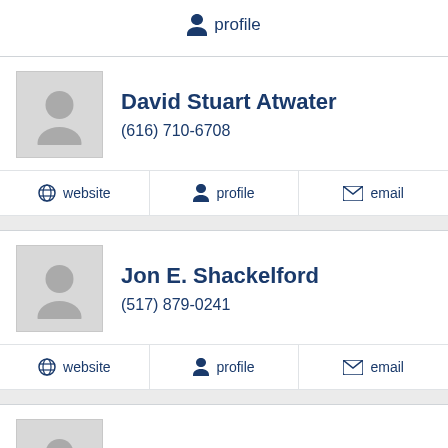profile
David Stuart Atwater
(616) 710-6708
website | profile | email
Jon E. Shackelford
(517) 879-0241
website | profile | email
Jeffrey Allen Steinport